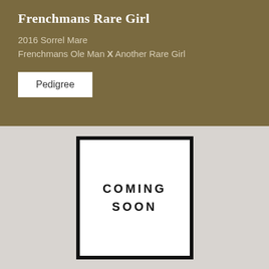Frenchmans Rare Girl
2016 Sorrel Mare
Frenchmans Ole Man X Another Rare Girl
Pedigree
[Figure (photo): A framed 'COMING SOON' sign displayed on a light gray background. The frame is thick black and the text inside reads 'COMING SOON' in bold spaced capital letters.]